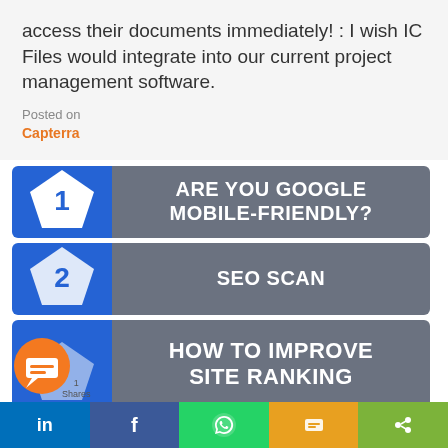access their documents immediately! : I wish IC Files would integrate into our current project management software.
Posted on
Capterra
[Figure (infographic): Blue banner with pentagon numbered 1 and gray section reading 'ARE YOU GOOGLE MOBILE-FRIENDLY?']
[Figure (infographic): Blue banner with pentagon numbered 2 and gray section reading 'SEO SCAN']
[Figure (infographic): Blue banner with orange pentagon and gray section reading 'HOW TO IMPROVE SITE RANKING']
[Figure (infographic): Social share bar with LinkedIn, Facebook, WhatsApp, SMS, and share buttons]